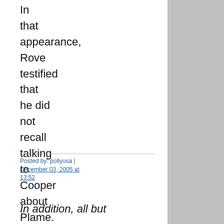In that appearance, Rove testified that he did not recall talking to Cooper about Plame. WAPO 12/03/05
Posted by: pollyusa | December 03, 2005 at 13:52
In addition, all but